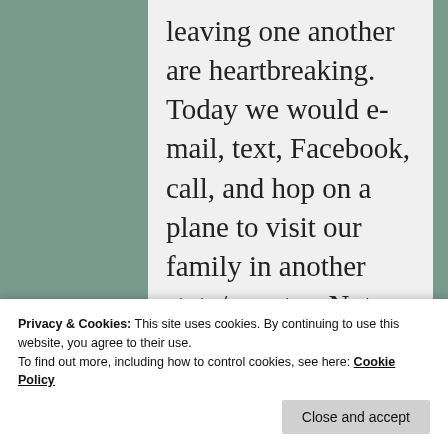leaving one another are heartbreaking. Today we would e-mail, text, Facebook, call, and hop on a plane to visit our family in another state/country. Not so back in those days 😟
Privacy & Cookies: This site uses cookies. By continuing to use this website, you agree to their use.
To find out more, including how to control cookies, see here: Cookie Policy